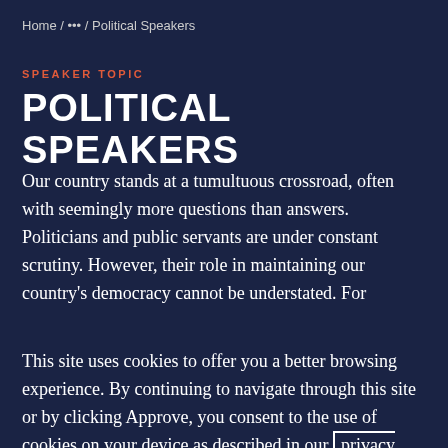Home / ••• / Political Speakers
SPEAKER TOPIC
POLITICAL SPEAKERS
Our country stands at a tumultuous crossroad, often with seemingly more questions than answers. Politicians and public servants are under constant scrutiny. However, their role in maintaining our country's democracy cannot be understated. For
This site uses cookies to offer you a better browsing experience. By continuing to navigate through this site or by clicking Approve, you consent to the use of cookies on your device as described in our privacy notice
APPROVE